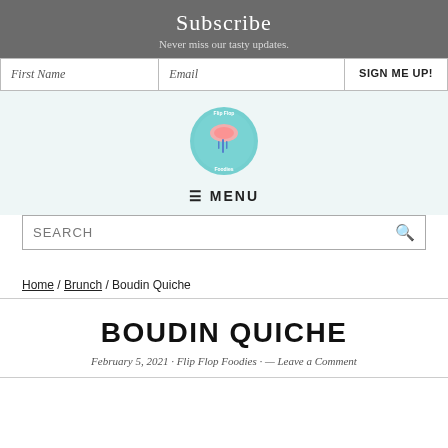Subscribe
Never miss our tasty updates.
| First Name | Email | SIGN ME UP! |
| --- | --- | --- |
[Figure (logo): Flip Flop Foodies circular logo with flip flop and fork graphic]
≡ MENU
SEARCH
Home / Brunch / Boudin Quiche
BOUDIN QUICHE
February 5, 2021 · Flip Flop Foodies · — Leave a Comment